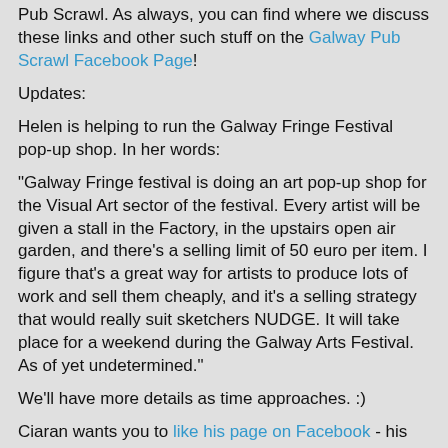Pub Scrawl. As always, you can find where we discuss these links and other such stuff on the Galway Pub Scrawl Facebook Page!
Updates:
Helen is helping to run the Galway Fringe Festival pop-up shop. In her words:
"Galway Fringe festival is doing an art pop-up shop for the Visual Art sector of the festival. Every artist will be given a stall in the Factory, in the upstairs open air garden, and there's a selling limit of 50 euro per item. I figure that's a great way for artists to produce lots of work and sell them cheaply, and it's a selling strategy that would really suit sketchers NUDGE. It will take place for a weekend during the Galway Arts Festival. As of yet undetermined."
We'll have more details as time approaches. :)
Ciaran wants you to like his page on Facebook - his venture, CreoDrone, will do 3-D printing for you at a low cost. Contact him if you are also a 3-D printing adopter in the Galway area.